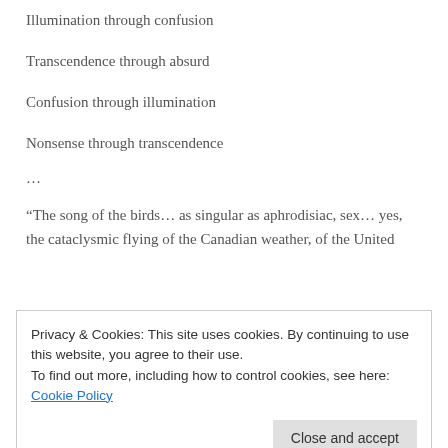Illumination through confusion
Transcendence through absurd
Confusion through illumination
Nonsense through transcendence
…
“The song of the birds… as singular as aphrodisiac, sex… yes, the cataclysmic flying of the Canadian weather, of the United
Privacy & Cookies: This site uses cookies. By continuing to use this website, you agree to their use.
To find out more, including how to control cookies, see here: Cookie Policy
Close and accept